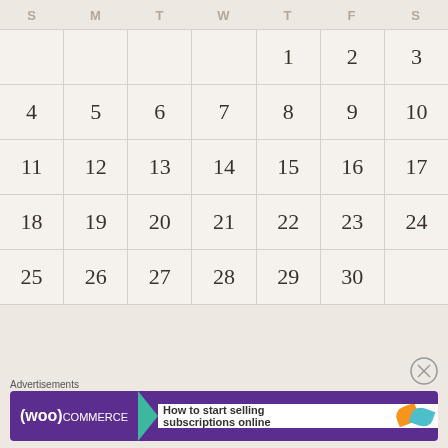| S | M | T | W | T | F | S |
| --- | --- | --- | --- | --- | --- | --- |
|  |  |  |  | 1 | 2 | 3 |
| 4 | 5 | 6 | 7 | 8 | 9 | 10 |
| 11 | 12 | 13 | 14 | 15 | 16 | 17 |
| 18 | 19 | 20 | 21 | 22 | 23 | 24 |
| 25 | 26 | 27 | 28 | 29 | 30 |  |
« Oct  Dec »
[Figure (screenshot): WooCommerce advertisement banner: 'How to start selling subscriptions online']